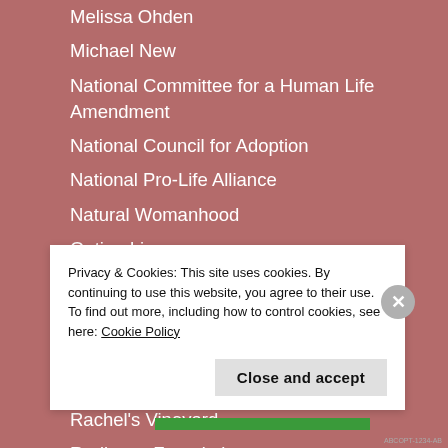Melissa Ohden
Michael New
National Committee for a Human Life Amendment
National Council for Adoption
National Pro-Life Alliance
Natural Womanhood
Option Line
Pregnancy Line
Priests for Life
Pro-Choice Violence
Pro-Life Alliance of Gays & Lesbians
Rachel's Vineyard
Radiance Foundation
Rebecca Kiessling
Privacy & Cookies: This site uses cookies. By continuing to use this website, you agree to their use. To find out more, including how to control cookies, see here: Cookie Policy
Close and accept